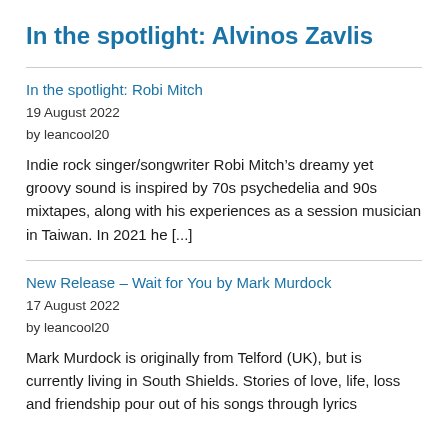In the spotlight: Alvinos Zavlis
In the spotlight: Robi Mitch
19 August 2022
by leancool20
Indie rock singer/songwriter Robi Mitch’s dreamy yet groovy sound is inspired by 70s psychedelia and 90s mixtapes, along with his experiences as a session musician in Taiwan. In 2021 he [...]
New Release – Wait for You by Mark Murdock
17 August 2022
by leancool20
Mark Murdock is originally from Telford (UK), but is currently living in South Shields. Stories of love, life, loss and friendship pour out of his songs through lyrics that bear [...]